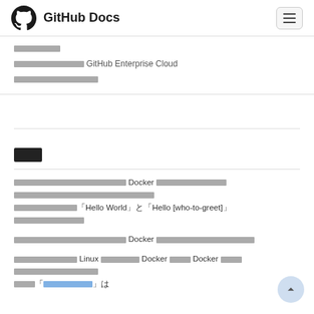GitHub Docs
ははははははは
ははははははははははは GitHub Enterprise Cloud
はははははははははははは
はは
はははははははははははははははは Docker ははははははははははは ははははははははははははははははははははははははははははははははははははは「Hello World」と「Hello [who-to-greet]」ははははははははははははははははは
はははははははははははははははは Docker ははははははははははははははは
はははははははははは Linux ははははははは Docker ははははは Docker ははははははははははははははははははははははははははははは「はははははははははは」は